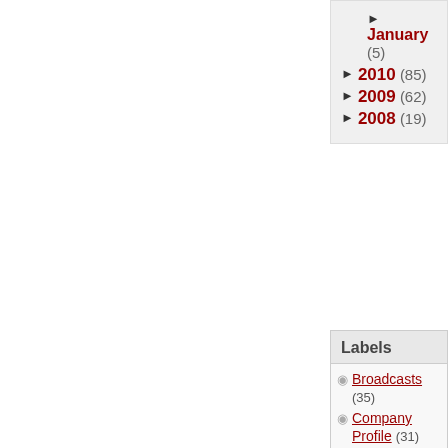► January (5)
► 2010 (85)
► 2009 (62)
► 2008 (19)
Labels
Broadcasts (35)
Company Profile (31)
Connections System (15)
Currency Calculator (1)
Customer Support (6)
Dashboard (3)